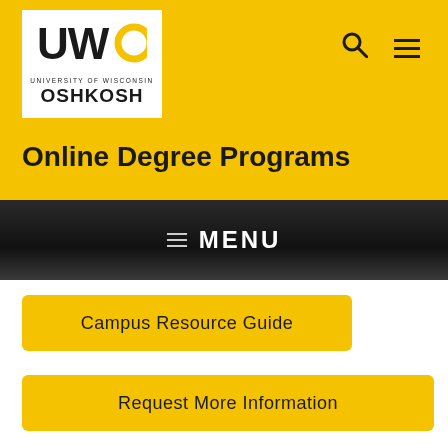[Figure (logo): University of Wisconsin Oshkosh (UWO) logo in white box on yellow header background]
Online Degree Programs
MENU
Campus Resource Guide
Request More Information